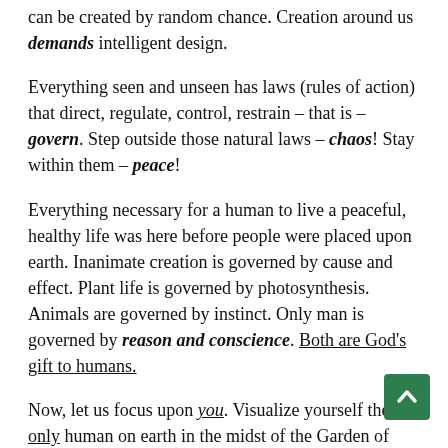can be created by random chance.  Creation around us demands intelligent design.
Everything seen and unseen has laws (rules of action) that direct, regulate, control, restrain – that is – govern. Step outside those natural laws – chaos!  Stay within them – peace!
Everything necessary for a human to live a peaceful, healthy life was here before people were placed upon earth.  Inanimate creation is governed by cause and effect.  Plant life is governed by photosynthesis.  Animals are governed by instinct.  Only man is governed by reason and conscience.  Both are God's gift to humans.
Now, let us focus upon you.  Visualize yourself the only human on earth in the midst of the Garden of Eden.  A state of perfect natural freedom.  Go where you wish.  Eat and sleep when you wish.  Use what is here to create